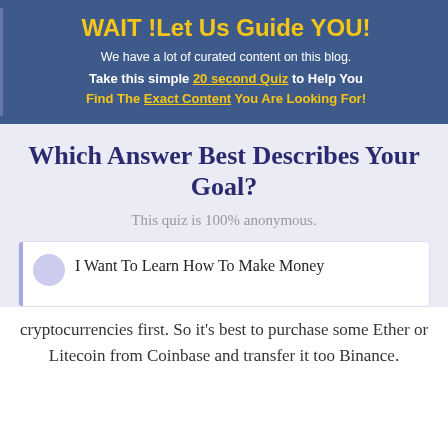WAIT !Let Us Guide YOU!
We have a lot of curated content on this blog.
Take this simple 20 second Quiz to Help You
Find The Exact Content You Are Looking For!
Which Answer Best Describes Your Goal?
This quiz is 100% anonymous.
I Want To Learn How To Make Money
cryptocurrencies first. So it's best to purchase some Ether or Litecoin from Coinbase and transfer it too Binance.